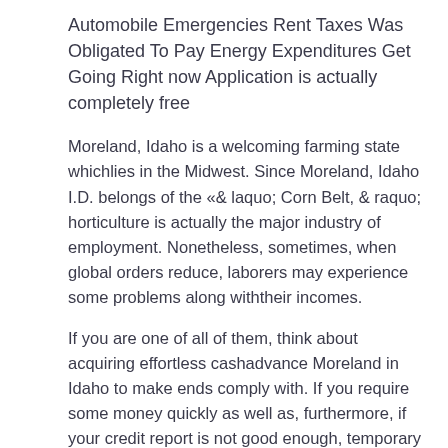Automobile Emergencies Rent Taxes Was Obligated To Pay Energy Expenditures Get Going Right now Application is actually completely free
Moreland, Idaho is a welcoming farming state whichlies in the Midwest. Since Moreland, Idaho I.D. belongs of the «& laquo; Corn Belt, & raquo; horticulture is actually the major industry of employment. Nonetheless, sometimes, when global orders reduce, laborers may experience some problems along withtheir incomes.
If you are one of all of them, think about acquiring effortless cashadvance Moreland in Idaho to make ends comply with. If you require some money quickly as well as, furthermore, if your credit report is not good enough, temporary finances can easily help you cover home loans or lease.